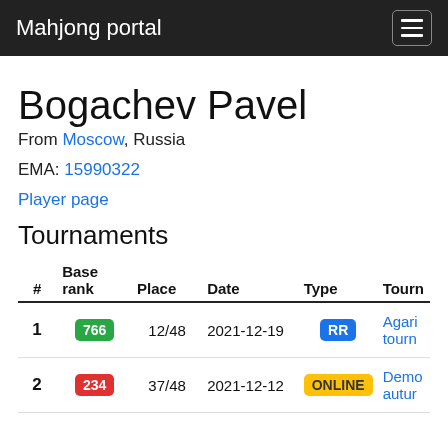Mahjong portal
Bogachev Pavel
From Moscow, Russia
EMA: 15990322
Player page
Tournaments
| # | Base rank | Place | Date | Type | Tourn |
| --- | --- | --- | --- | --- | --- |
| 1 | 766 | 12/48 | 2021-12-19 | RR | Agari tourn |
| 2 | 234 | 37/48 | 2021-12-12 | ONLINE | Demo autur |